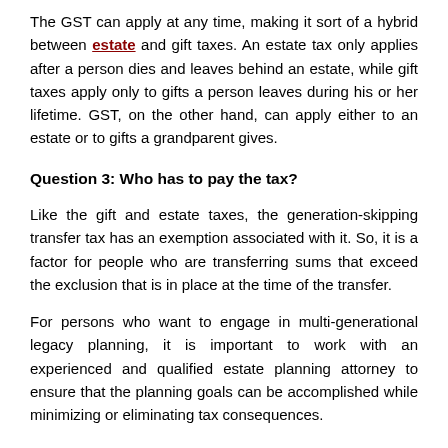The GST can apply at any time, making it sort of a hybrid between estate and gift taxes. An estate tax only applies after a person dies and leaves behind an estate, while gift taxes apply only to gifts a person leaves during his or her lifetime. GST, on the other hand, can apply either to an estate or to gifts a grandparent gives.
Question 3: Who has to pay the tax?
Like the gift and estate taxes, the generation-skipping transfer tax has an exemption associated with it. So, it is a factor for people who are transferring sums that exceed the exclusion that is in place at the time of the transfer.
For persons who want to engage in multi-generational legacy planning, it is important to work with an experienced and qualified estate planning attorney to ensure that the planning goals can be accomplished while minimizing or eliminating tax consequences.